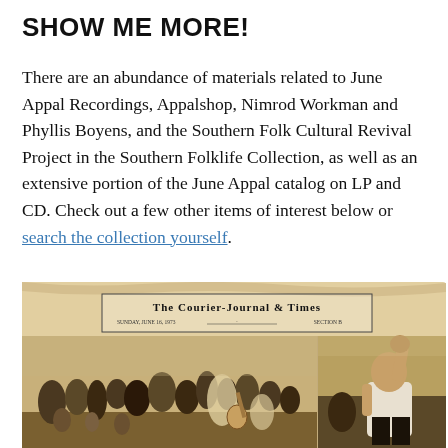SHOW ME MORE!
There are an abundance of materials related to June Appal Recordings, Appalshop, Nimrod Workman and Phyllis Boyens, and the Southern Folk Cultural Revival Project in the Southern Folklife Collection, as well as an extensive portion of the June Appal catalog on LP and CD. Check out a few other items of interest below or search the collection yourself.
[Figure (photo): Sepia-toned newspaper clipping from The Courier-Journal & Times, Sunday June 16, 1975, Section B, showing two photographs: left shows a crowd of people at what appears to be an outdoor folk music gathering with musicians playing guitar, right shows an older man with his fist raised.]